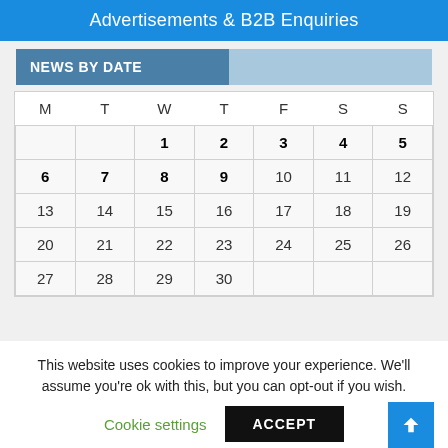Advertisements & B2B Enquiries
NEWS BY DATE
| M | T | W | T | F | S | S |
| --- | --- | --- | --- | --- | --- | --- |
|  |  | 1 | 2 | 3 | 4 | 5 |
| 6 | 7 | 8 | 9 | 10 | 11 | 12 |
| 13 | 14 | 15 | 16 | 17 | 18 | 19 |
| 20 | 21 | 22 | 23 | 24 | 25 | 26 |
| 27 | 28 | 29 | 30 |  |  |  |
This website uses cookies to improve your experience. We'll assume you're ok with this, but you can opt-out if you wish.
Cookie settings   ACCEPT